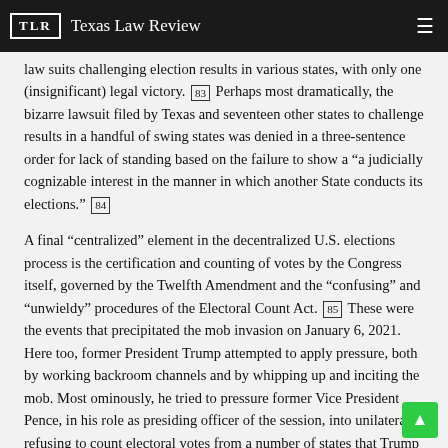TLR | Texas Law Review
law suits challenging election results in various states, with only one (insignificant) legal victory. [83] Perhaps most dramatically, the bizarre lawsuit filed by Texas and seventeen other states to challenge results in a handful of swing states was denied in a three-sentence order for lack of standing based on the failure to show a "a judicially cognizable interest in the manner in which another State conducts its elections." [84]
A final "centralized" element in the decentralized U.S. elections process is the certification and counting of votes by the Congress itself, governed by the Twelfth Amendment and the "confusing" and "unwieldy" procedures of the Electoral Count Act. [85] These were the events that precipitated the mob invasion on January 6, 2021. Here too, former President Trump attempted to apply pressure, both by working backroom channels and by whipping up and inciting the mob. Most ominously, he tried to pressure former Vice President Pence, in his role as presiding officer of the session, into unilaterally refusing to count electoral votes from a number of states that Trump baselessly contested